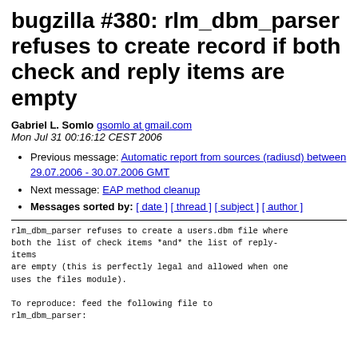bugzilla #380: rlm_dbm_parser refuses to create record if both check and reply items are empty
Gabriel L. Somlo gsomlo at gmail.com
Mon Jul 31 00:16:12 CEST 2006
Previous message: Automatic report from sources (radiusd) between 29.07.2006 - 30.07.2006 GMT
Next message: EAP method cleanup
Messages sorted by: [ date ] [ thread ] [ subject ] [ author ]
rlm_dbm_parser refuses to create a users.dbm file where
both the list of check items *and* the list of reply-items
are empty (this is perfectly legal and allowed when one
uses the files module).

To reproduce: feed the following file to
rlm_dbm_parser: